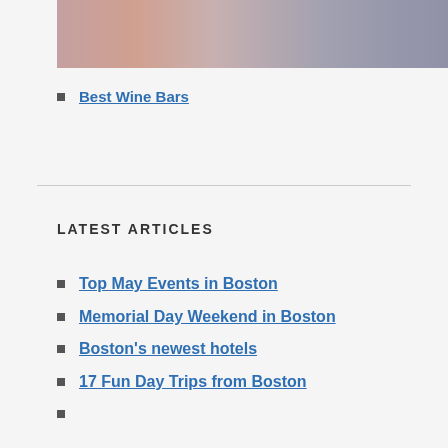[Figure (photo): People clinking wine glasses at a social gathering or bar event]
Best Wine Bars
Top May Events in Boston
Memorial Day Weekend in Boston
Boston's newest hotels
17 Fun Day Trips from Boston
LATEST ARTICLES